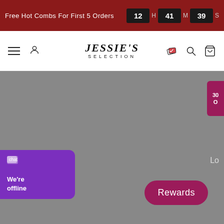Free Hot Combs For First 5 Orders  12 H 41 M 39 S
[Figure (logo): Jessie's Selection logo with hamburger menu, user icon, stamp loyalty icon, search icon, and cart icon in navigation bar]
[Figure (other): Gray placeholder main content area]
[Figure (other): Pink badge on right edge partially visible showing 30% Off]
Lo
[Figure (other): Purple chat widget in bottom left corner showing offline status: We're offline]
Rewards